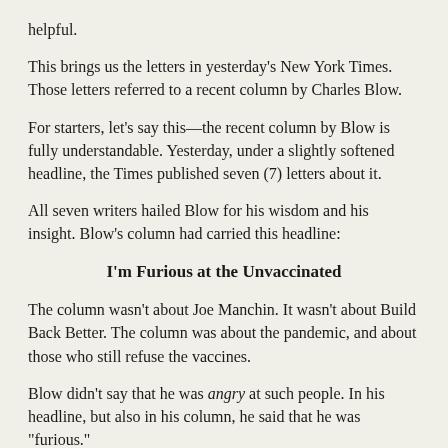helpful.
This brings us the letters in yesterday's New York Times. Those letters referred to a recent column by Charles Blow.
For starters, let's say this—the recent column by Blow is fully understandable. Yesterday, under a slightly softened headline, the Times published seven (7) letters about it.
All seven writers hailed Blow for his wisdom and his insight. Blow's column had carried this headline:
I'm Furious at the Unvaccinated
The column wasn't about Joe Manchin. It wasn't about Build Back Better. The column was about the pandemic, and about those who still refuse the vaccines.
Blow didn't say that he was angry at such people. In his headline, but also in his column, he said that he was "furious."
(It's our understanding that regular columnists in the Times compose their own headlines.)